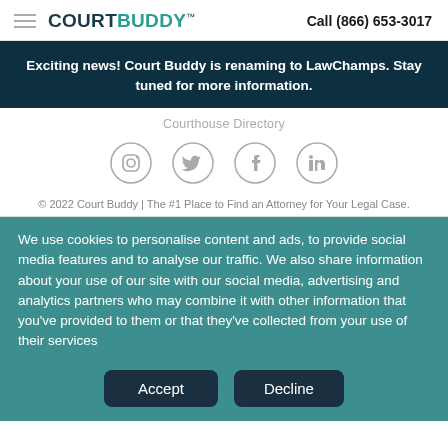COURTBUDDY™  Call (866) 653-3017
Exciting news! Court Buddy is renaming to LawChamps. Stay tuned for more information.
Courthouse Directory
[Figure (illustration): Four social media icons in circles: Instagram, Twitter, Facebook, LinkedIn]
© 2022 Court Buddy | The #1 Place to Find an Attorney for Your Legal Case.
We use cookies to personalise content and ads, to provide social media features and to analyse our traffic. We also share information about your use of our site with our social media, advertising and analytics partners who may combine it with other information that you've provided to them or that they've collected from your use of their services
Accept  Decline